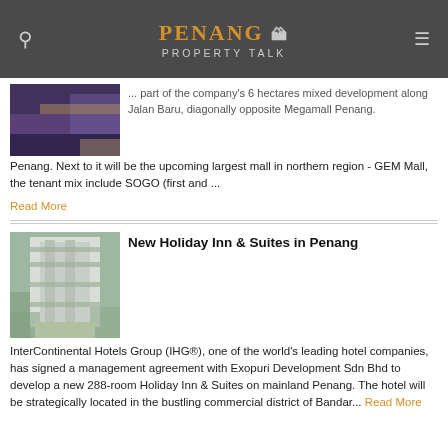Penang Property Talk
[Figure (photo): Exterior rendering of a commercial building with purple/dark tones and warm lighting, partial view at top of page]
part of the company's 6 hectares mixed development along Jalan Baru, diagonally opposite Megamall Penang. Next to it will be the upcoming largest mall in northern region - GEM Mall, the tenant mix include SOGO (first and ...
Read More
New Holiday Inn & Suites in Penang
[Figure (photo): Aerial view rendering of Holiday Inn & Suites hotel building, a tall modern tower surrounded by residential neighborhoods in Penang]
InterContinental Hotels Group (IHG®), one of the world's leading hotel companies, has signed a management agreement with Exopuri Development Sdn Bhd to develop a new 288-room Holiday Inn & Suites on mainland Penang. The hotel will be strategically located in the bustling commercial district of Bandar...
Read More